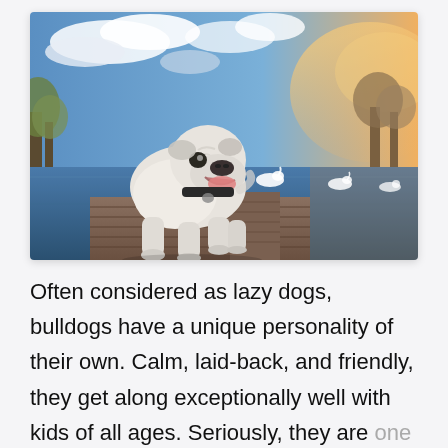[Figure (photo): A white English bulldog with a black collar standing on a wooden dock/pier, looking upward with mouth open. Behind the dog is a calm lake with swans, and a sky with blue tones and warm golden sunlight on the right. Trees are visible in the background on both sides.]
Often considered as lazy dogs, bulldogs have a unique personality of their own. Calm, laid-back, and friendly, they get along exceptionally well with kids of all ages. Seriously, they are one of the calmest breeds of dogs around.